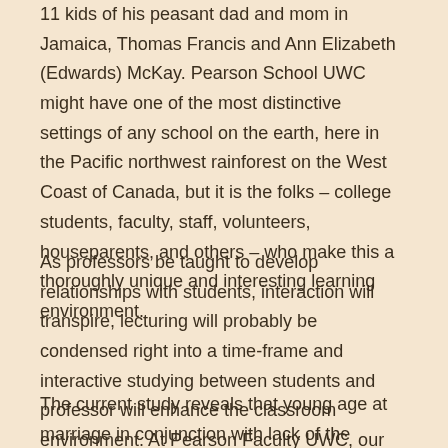11 kids of his peasant dad and mom in Jamaica, Thomas Francis and Ann Elizabeth (Edwards) McKay. Pearson School UWC might have one of the most distinctive settings of any school on the earth, here in the Pacific northwest rainforest on the West Coast of Canada, but it is the folks – college students, faculty, staff, volunteers, houseparents, and others – who make this a thoroughly unique and interesting learning environment.
As professors be taught to develop relationships with students, interaction will transpire, lecturing will probably be condensed right into a time-frame and interactive studying between students and professor will enhance the classroom environment. At Pearson Faculty UWC, our students study by doing.
The current study reveals that young age at marriage in conjunction with lack of the capability to avoid bickering